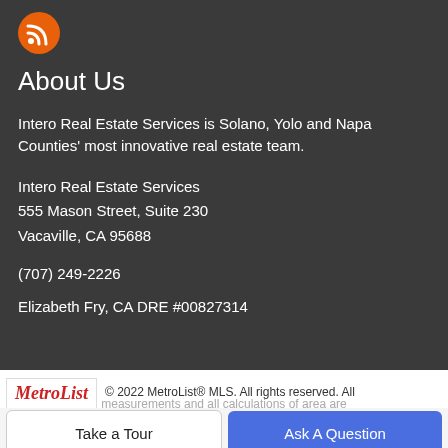[Figure (logo): Orange circular RSS feed icon]
About Us
Intero Real Estate Services is Solano, Yolo and Napa Counties' most innovative real estate team.
Intero Real Estate Services
555 Mason Street, Suite 230
Vacaville, CA 95688
(707) 249-2226
Elizabeth Fry, CA DRE #00827314
[Figure (logo): MetroList logo in red italic text]
© 2022 MetroList® MLS. All rights reserved. All measurements and all calculations of area are
measurements and all calculations of area are
Take a Tour
Ask A Question